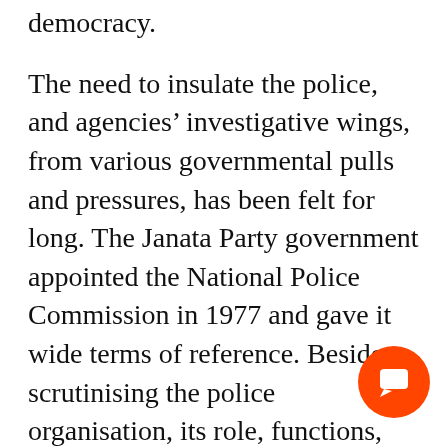democracy.
The need to insulate the police, and agencies' investigative wings, from various governmental pulls and pressures, has been felt for long. The Janata Party government appointed the National Police Commission in 1977 and gave it wide terms of reference. Besides scrutinising the police organisation, its role, functions, accountability and relations with the public, it was also asked to examine political interference in its work as well as misuse of its powers. This commission first at the national level after Independence, penned eight voluminous